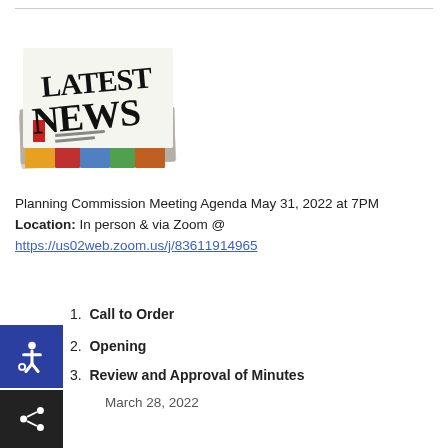[Figure (photo): Stack of newspapers with 'LATEST NEWS' visible on the top page]
Planning Commission Meeting Agenda May 31, 2022 at 7PM
Location: In person & via Zoom @
https://us02web.zoom.us/j/83611914965
1. Call to Order
2. Opening
3. Review and Approval of Minutes
March 28, 2022